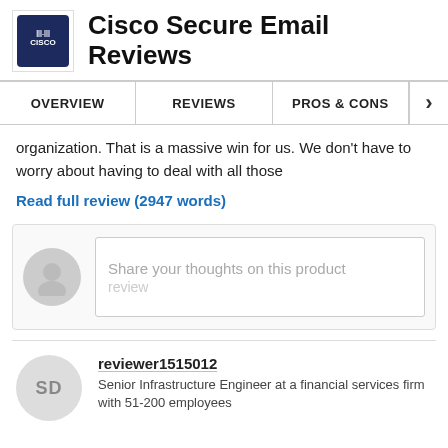Cisco Secure Email Reviews
OVERVIEW | REVIEWS | PROS & CONS
organization. That is a massive win for us. We don't have to worry about having to deal with all those
Read full review (2947 words)
[Figure (screenshot): Write review input box with user avatar placeholder and text 'Share your thoughts on this product review']
reviewer1515012
Senior Infrastructure Engineer at a financial services firm with 51-200 employees